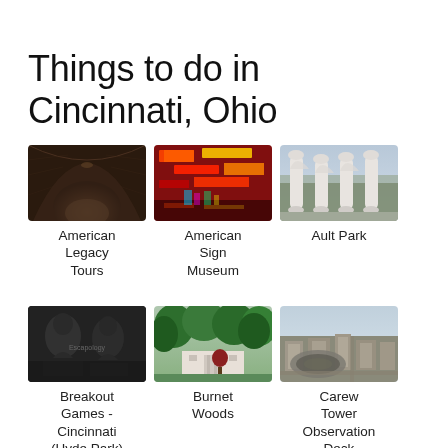Things to do in Cincinnati, Ohio
[Figure (photo): Dark stone tunnel interior - American Legacy Tours]
[Figure (photo): Colorful neon signs in a museum - American Sign Museum]
[Figure (photo): White stone columns with trees - Ault Park]
American Legacy Tours
American Sign Museum
Ault Park
[Figure (photo): Dark statue/figures - Breakout Games Cincinnati Hyde Park]
[Figure (photo): Green trees and building - Burnet Woods]
[Figure (photo): Aerial cityscape with stadium - Carew Tower Observation Deck]
Breakout Games - Cincinnati (Hyde Park)
Burnet Woods
Carew Tower Observation Deck